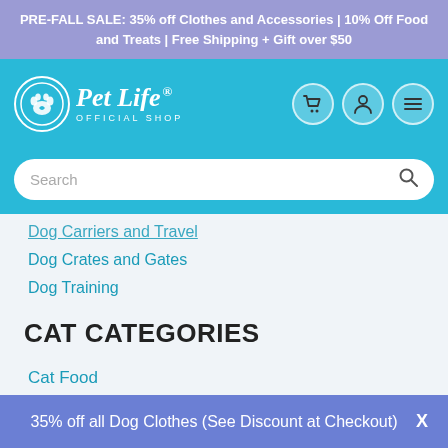PRE-FALL SALE: 35% off Clothes and Accessories | 10% Off Food and Treats | Free Shipping + Gift over $50
[Figure (logo): Pet Life Official Shop logo with paw print circle icon and italic script text, on teal/blue background with cart, user, and menu icon buttons]
Search
Dog Carriers and Travel
Dog Crates and Gates
Dog Training
CAT CATEGORIES
Cat Food
Cat Treats
Cat Toys
Cat Scratchers
35% off all Dog Clothes (See Discount at Checkout)